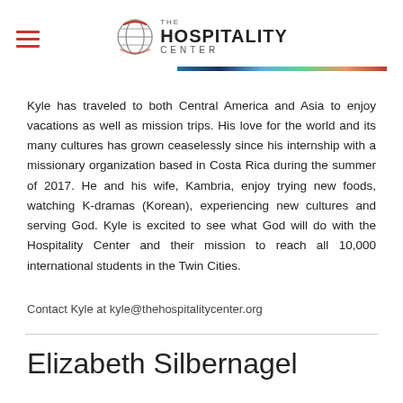THE HOSPITALITY CENTER
Kyle has traveled to both Central America and Asia to enjoy vacations as well as mission trips. His love for the world and its many cultures has grown ceaselessly since his internship with a missionary organization based in Costa Rica during the summer of 2017. He and his wife, Kambria, enjoy trying new foods, watching K-dramas (Korean), experiencing new cultures and serving God. Kyle is excited to see what God will do with the Hospitality Center and their mission to reach all 10,000 international students in the Twin Cities.
Contact Kyle at kyle@thehospitalitycenter.org
Elizabeth Silbernagel